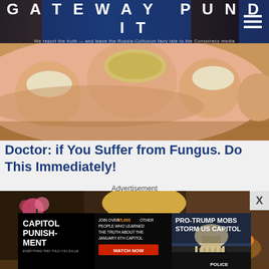GATEWAY PUNDIT — We report the truth — and leave the Russia-Collusion fairy tale to the Conspiracy media
[Figure (photo): Close-up illustration of toenails with fungus on a wooden surface]
Doctor: if You Suffer from Fungus. Do This Immediately!
[Figure (photo): Blonde woman looking down at a laptop in a warmly lit interior room with flowers and a fruit basket]
Advertisement
[Figure (photo): Capitol Punishment advertisement — Join over 65,000 other people who learned the truth about the January 6th Capitol. Watch Now. Pro-Trump mobs storm US Capitol. Police.]